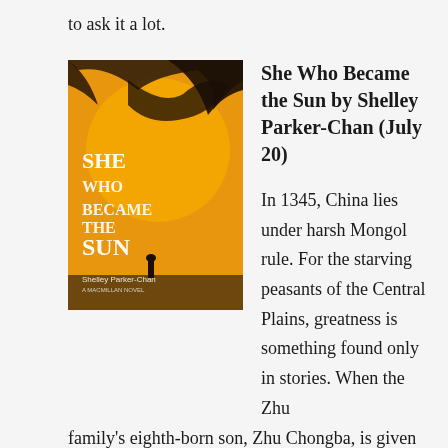to ask it a lot.
She Who Became the Sun by Shelley Parker-Chan (July 20)
[Figure (photo): Book cover of 'She Who Became the Sun' by Shelley Parker-Chan — orange background with a dark bird silhouette and a small figure at the bottom.]
In 1345, China lies under harsh Mongol rule. For the starving peasants of the Central Plains, greatness is something found only in stories. When the Zhu family's eighth-born son, Zhu Chongba, is given a fate of greatness, everyone is mystified as to how it will come to pass. The fate of nothingness received by the family's clever and capable second daughter, on the other hand, is only as expected. When a bandit attack orphans the two children, though, it is Zhu Chongba who succumbs to despair and dies. Desperate to escape her own fated